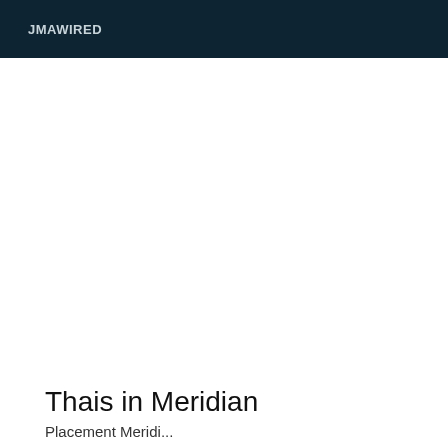JMAWIRED
Thais in Meridian
Placement Meridian...